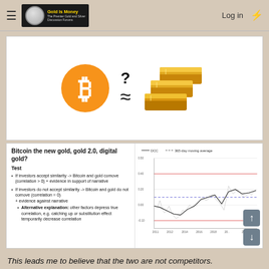Gold Is Money – The Premier Gold and Silver Discussion Forums | Log in
[Figure (illustration): Bitcoin orange circle logo with B symbol, question mark, approximately-equal symbol, and stacked gold bars image]
Bitcoin the new gold, gold 2.0, digital gold?
Test
If investors accept similarity -> Bitcoin and gold comove (correlation > 0) + evidence in support of narrative
If investors do not accept similarity -> Bitcoin and gold do not comove (correlation = 0) + evidence against narrative
Alternative explanation: other factors depress true correlation, e.g. catching up or substitution effect temporarily decrease correlation
[Figure (line-chart): Line chart showing Bitcoin-gold correlation (DCC) and 365-day moving average from 2011 to 2021, with correlation values ranging roughly from -0.10 to 0.50, with horizontal reference lines]
This leads me to believe that the two are not competitors.